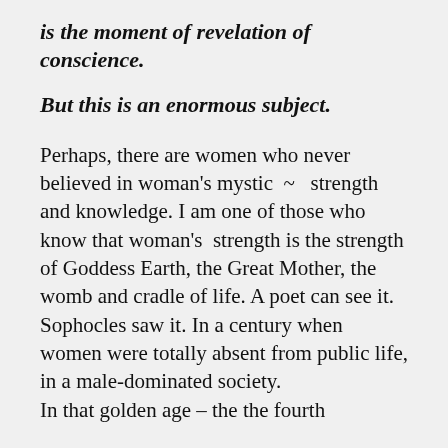is the moment of revelation of conscience.
But this is an enormous subject.
Perhaps, there are women who never believed in woman's mystic ~  strength and knowledge. I am one of those who know that woman's  strength is the strength of Goddess Earth, the Great Mother, the womb and cradle of life. A poet can see it. Sophocles saw it. In a century when women were totally absent from public life, in a male-dominated society. In that golden age – the the fourth